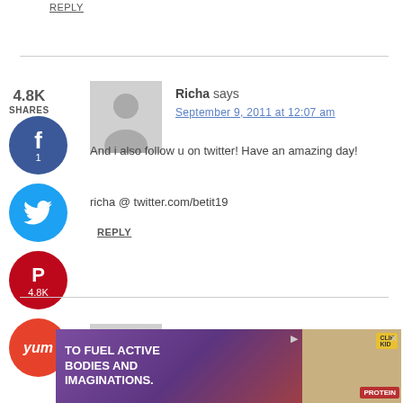REPLY
4.8K SHARES
Richa says
September 9, 2011 at 12:07 am
And i also follow u on twitter! Have an amazing day!
richa @ twitter.com/betit19
REPLY
Richa says
September 9, 2011 at 12:09 am
[Figure (other): Advertisement banner: TO FUEL ACTIVE BODIES AND IMAGINATIONS. CLIF KID protein bar ad.]